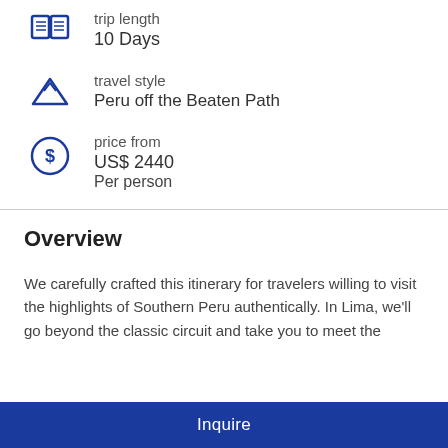trip length
10 Days
travel style
Peru off the Beaten Path
price from
US$ 2440
Per person
Overview
We carefully crafted this itinerary for travelers willing to visit the highlights of Southern Peru authentically. In Lima, we'll go beyond the classic circuit and take you to meet the
Inquire